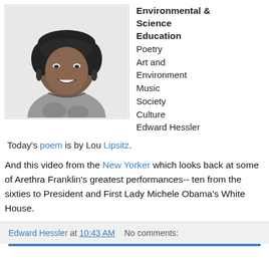[Figure (photo): Black and white portrait photo of a smiling woman with short hair and drop earrings]
Environmental & Science Education
Poetry
Art and Environment
Music
Society
Culture
Edward Hessler
Today's poem is by Lou Lipsitz.
And this video from the New Yorker which looks back at some of Arethra Franklin's greatest performances-- ten from the sixties to President and First Lady Michele Obama's White House.
Edward Hessler at 10:43 AM   No comments: